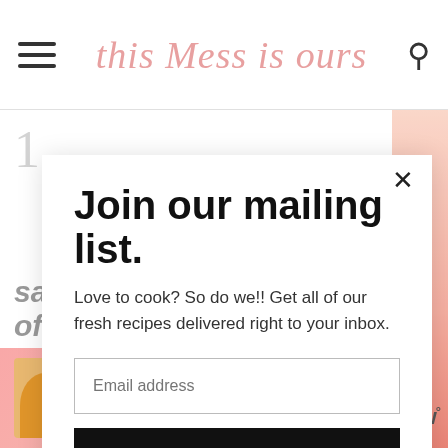this Mess is ours
Join our mailing list.
Love to cook? So do we!! Get all of our fresh recipes delivered right to your inbox.
Email address
Subscribe
saucepan with 1 tablespoon of salt
[Figure (infographic): Advertisement banner with person figure and text 'Actions speak louder than words.']
w°